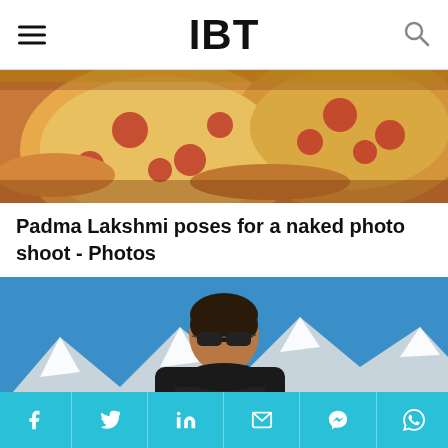IBT
[Figure (photo): Pizza slices in a box, close-up overhead shot]
Padma Lakshmi poses for a naked photo shoot - Photos
[Figure (photo): Woman in black Prada turtleneck and sunglasses sitting against a backdrop of snow-capped mountains and blue sky]